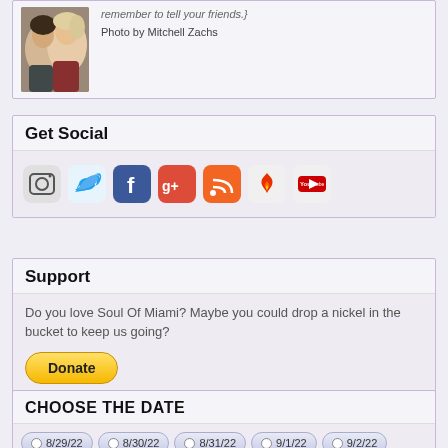remember to tell your friends.}
Photo by Mitchell Zachs
Get Social
[Figure (illustration): Row of social media icons: Instagram, Twitter, Facebook, Google+, RSS, Fire/Ember, YouTube]
Support
Do you love Soul Of Miami? Maybe you could drop a nickel in the bucket to keep us going?
[Figure (screenshot): PayPal Donate button with credit card icons below (Visa, Mastercard, Maestro, American Express, Discover, bank transfer)]
CHOOSE THE DATE
8/29/22  8/30/22  8/31/22  9/1/22  9/2/22